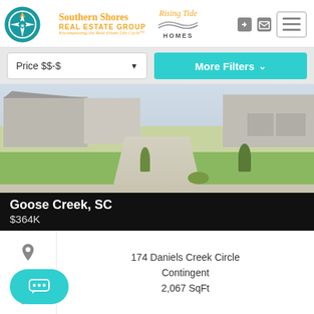[Figure (logo): Southern Shores Real Estate Group logo with compass rose and Rising Tide Homes logo]
Price $$-$
More Filters
[Figure (photo): Exterior photo of a home in Goose Creek SC showing driveway and lawn]
Goose Creek, SC
$364K
174 Daniels Creek Circle
Contingent
2,067 SqFt
Size